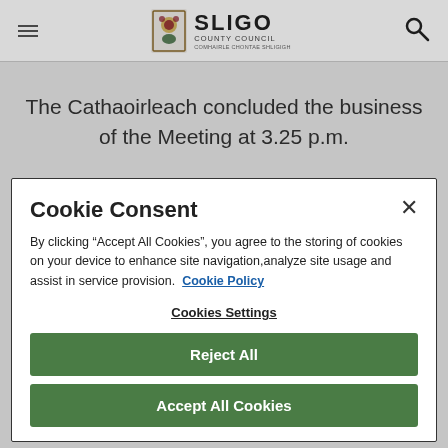Sligo County Council
The Cathaoirleach concluded the business of the Meeting at 3.25 p.m.
Cookie Consent
By clicking “Accept All Cookies”, you agree to the storing of cookies on your device to enhance site navigation,analyze site usage and assist in service provision.  Cookie Policy
Cookies Settings
Reject All
Accept All Cookies